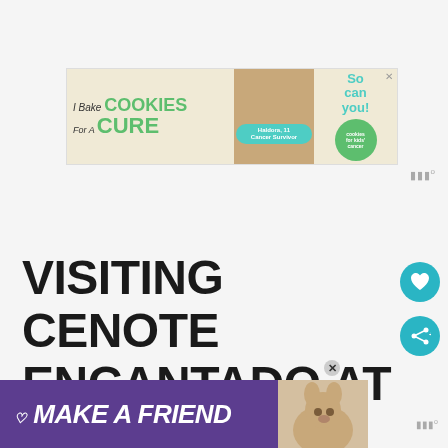[Figure (infographic): Advertisement banner: 'I Bake COOKIES For A CURE' with child image, Haldora 11 Cancer Survivor badge, 'So can you!' text and green Cookies for Kids Cancer circle logo with X close button]
VISITING CENOTE ENCANTADO AT TULUM BEACH: WHAT TO EXPECT
[Figure (infographic): Bottom advertisement banner: 'MAKE A FRIEND' in white bold italic text on purple background with dog image and heart icons]